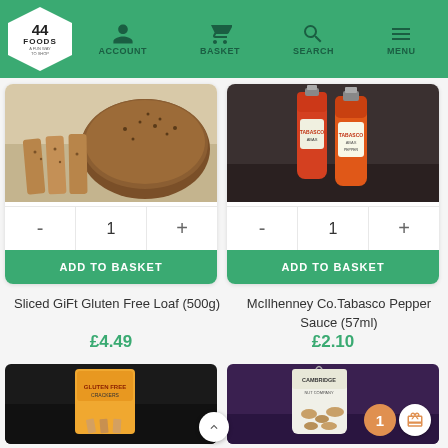44 FOODS — ACCOUNT | BASKET | SEARCH | MENU
[Figure (photo): Sliced gluten free loaf on light background]
[Figure (photo): Two bottles of McIlhenney Co. Tabasco Pepper Sauce on dark background]
Sliced GiFt Gluten Free Loaf (500g)
£4.49
McIlhenney Co.Tabasco Pepper Sauce (57ml)
£2.10
[Figure (photo): Product on dark background - crackers/biscuits in orange packaging]
[Figure (photo): Cambridge nut product bag on dark purple background]